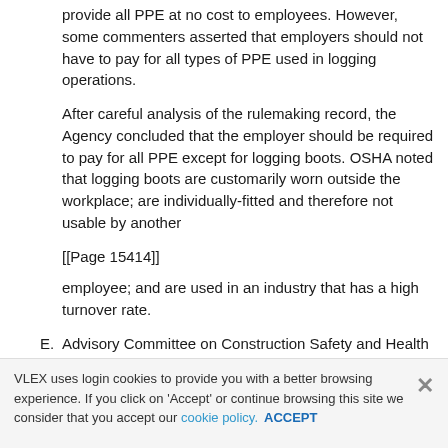provide all PPE at no cost to employees. However, some commenters asserted that employers should not have to pay for all types of PPE used in logging operations.
After careful analysis of the rulemaking record, the Agency concluded that the employer should be required to pay for all PPE except for logging boots. OSHA noted that logging boots are customarily worn outside the workplace; are individually-fitted and therefore not usable by another
[[Page 15414]]
employee; and are used in an industry that has a high turnover rate.
E. Advisory Committee on Construction Safety and Health
VLEX uses login cookies to provide you with a better browsing experience. If you click on 'Accept' or continue browsing this site we consider that you accept our cookie policy. ACCEPT